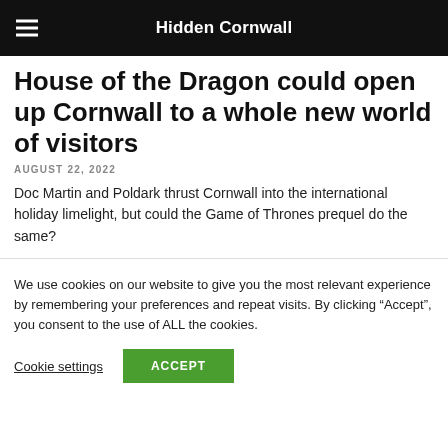Hidden Cornwall
House of the Dragon could open up Cornwall to a whole new world of visitors
AUGUST 22, 2022
Doc Martin and Poldark thrust Cornwall into the international holiday limelight, but could the Game of Thrones prequel do the same?
We use cookies on our website to give you the most relevant experience by remembering your preferences and repeat visits. By clicking “Accept”, you consent to the use of ALL the cookies.